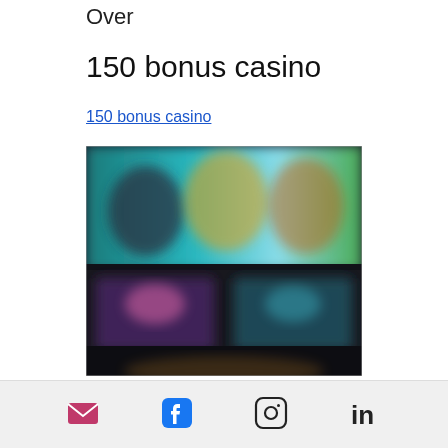Over
150 bonus casino
150 bonus casino
[Figure (screenshot): Blurred screenshot of a casino games interface showing colorful game thumbnails against a dark background with teal/blue and dark tones.]
Social icons: email, facebook, instagram, linkedin